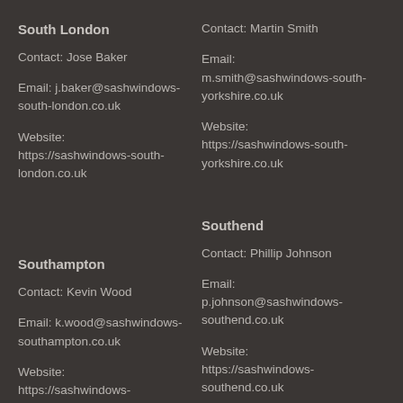South London
Contact: Jose Baker
Email: j.baker@sashwindows-south-london.co.uk
Website: https://sashwindows-south-london.co.uk
Contact: Martin Smith
Email: m.smith@sashwindows-south-yorkshire.co.uk
Website: https://sashwindows-south-yorkshire.co.uk
Southampton
Contact: Kevin Wood
Email: k.wood@sashwindows-southampton.co.uk
Website: https://sashwindows-southampton.co.uk
Southend
Contact: Phillip Johnson
Email: p.johnson@sashwindows-southend.co.uk
Website: https://sashwindows-southend.co.uk